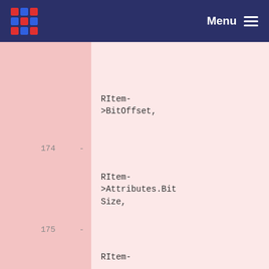Menu
RItem->BitOffset,
174   -
RItem->Attributes.BitSize,
175   -
RItem-